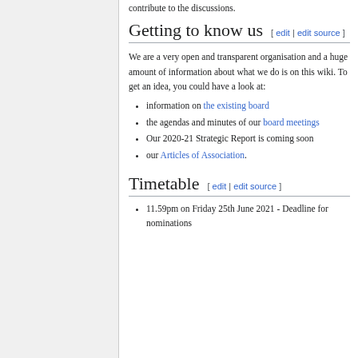contribute to the discussions.
Getting to know us [ edit | edit source ]
We are a very open and transparent organisation and a huge amount of information about what we do is on this wiki. To get an idea, you could have a look at:
information on the existing board
the agendas and minutes of our board meetings
Our 2020-21 Strategic Report is coming soon
our Articles of Association.
Timetable [ edit | edit source ]
11.59pm on Friday 25th June 2021 - Deadline for nominations